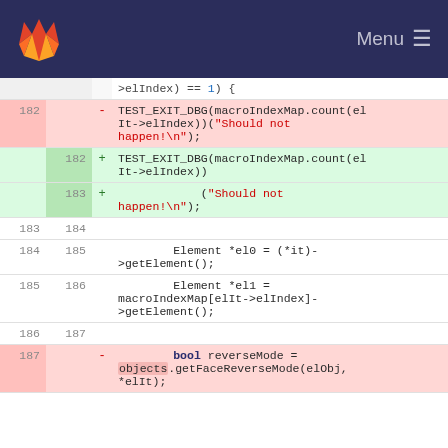Menu
[Figure (screenshot): GitLab diff view showing code changes around lines 182-187. Removed lines (red background) show TEST_EXIT_DBG call with inline string and bool reverseMode assignment. Added lines (green background) show reformatted TEST_EXIT_DBG call. Context lines show Element pointer assignments.]